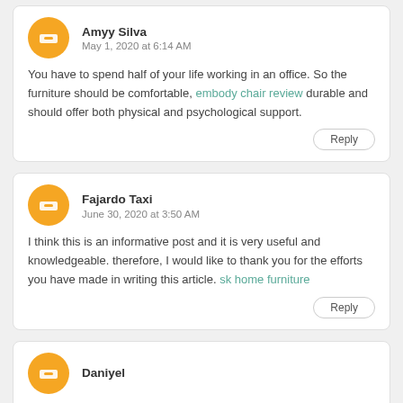Amyy Silva
May 1, 2020 at 6:14 AM
You have to spend half of your life working in an office. So the furniture should be comfortable, embody chair review durable and should offer both physical and psychological support.
Reply
Fajardo Taxi
June 30, 2020 at 3:50 AM
I think this is an informative post and it is very useful and knowledgeable. therefore, I would like to thank you for the efforts you have made in writing this article. sk home furniture
Reply
Daniyel